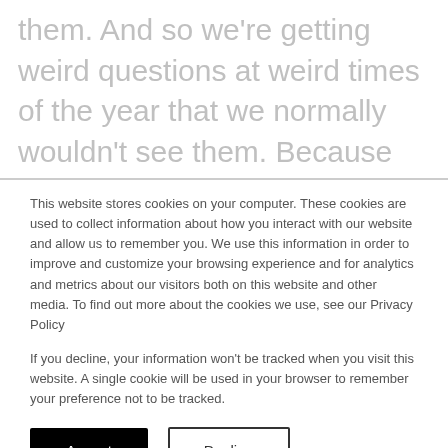them. And so we're getting weird questions at weird times of the year that we normally wouldn't see them. Because they're like, hey, I've got this class, I just found out tomorrow, we're all going full time remote, because someone tested positive for COVID. How do I change my schedule? How do I administer an online assessment if we're not in the computer lab and
This website stores cookies on your computer. These cookies are used to collect information about how you interact with our website and allow us to remember you. We use this information in order to improve and customize your browsing experience and for analytics and metrics about our visitors both on this website and other media. To find out more about the cookies we use, see our Privacy Policy
If you decline, your information won't be tracked when you visit this website. A single cookie will be used in your browser to remember your preference not to be tracked.